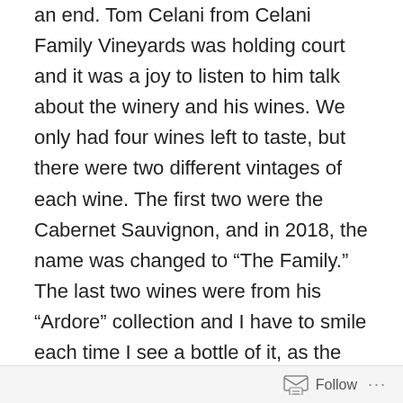an end.  Tom Celani from Celani Family Vineyards was holding court and it was a joy to listen to him talk about the winery and his wines.  We only had four wines left to taste, but there were two different vintages of each wine.  The first two were the Cabernet Sauvignon, and in 2018, the name was changed to “The Family.”  The last two wines were from his “Ardore” collection and I have to smile each time I see a bottle of it, as the label reminds me of a cigar wrapper, another one of Tom Celani’s passions and since his roots are from Detroit, he has a charity event centered on cigars, which I am sure is a great event, as I see some of my former customers listed on the ads, but I gave up cigars, which makes my Bride happy and to finalize that chapter of my life, I just sent my eldest grandson my humidor that I have had from college and he has just
Follow ···